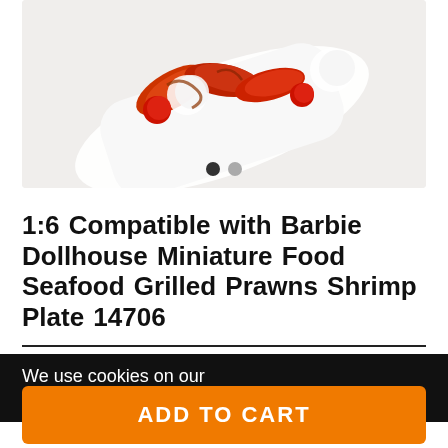[Figure (photo): A white rectangular plate/tray with grilled prawns/shrimp and tomatoes with sauce on a white background]
1:6 Compatible with Barbie Dollhouse Miniature Food Seafood Grilled Prawns Shrimp Plate 14706
We use cookies on our
ADD TO CART